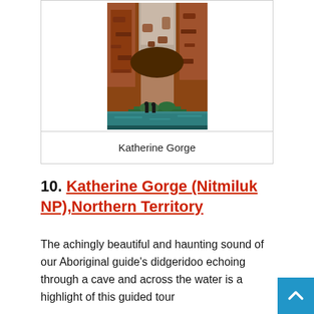[Figure (photo): Photo of Katherine Gorge showing red/orange sandstone rock walls with a narrow gorge and teal-green water at the bottom, with small figures of people visible]
Katherine Gorge
10. Katherine Gorge (Nitmiluk NP),Northern Territory
The achingly beautiful and haunting sound of our Aboriginal guide's didgeridoo echoing through a cave and across the water is a highlight of this guided tour